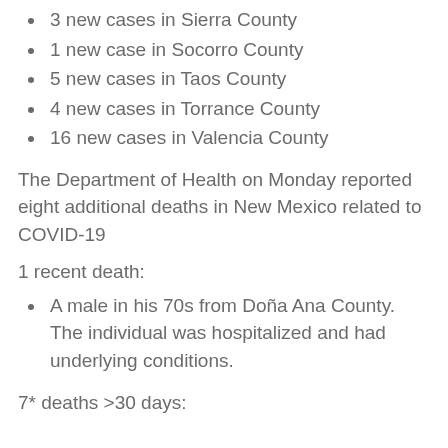3 new cases in Sierra County
1 new case in Socorro County
5 new cases in Taos County
4 new cases in Torrance County
16 new cases in Valencia County
The Department of Health on Monday reported eight additional deaths in New Mexico related to COVID-19
1 recent death:
A male in his 70s from Doña Ana County. The individual was hospitalized and had underlying conditions.
7* deaths >30 days: